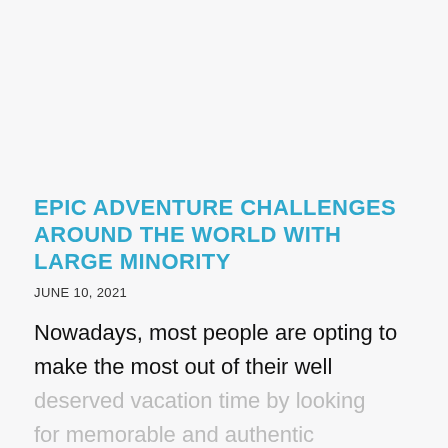EPIC ADVENTURE CHALLENGES AROUND THE WORLD WITH LARGE MINORITY
JUNE 10, 2021
Nowadays, most people are opting to make the most out of their well deserved vacation time by looking for memorable and authentic